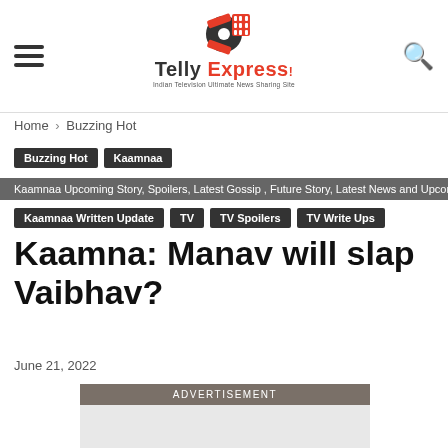Telly Express — Indian Television Ultimate News Sharing Site
Home › Buzzing Hot
Buzzing Hot  Kaamnaa
Kaamnaa Upcoming Story, Spoilers, Latest Gossip , Future Story, Latest News and Upcoming
Kaamnaa Written Update  TV  TV Spoilers  TV Write Ups
Kaamna: Manav will slap Vaibhav?
June 21, 2022
ADVERTISEMENT